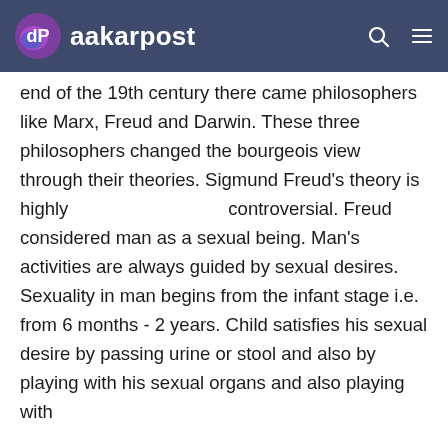aakarpost
end of the 19th century there came philosophers like Marx, Freud and Darwin. These three philosophers changed the bourgeois view through their theories. Sigmund Freud's theory is highly controversial. Freud considered man as a sexual being. Man's activities are always guided by sexual desires. Sexuality in man begins from the infant stage i.e. from 6 months - 2 years. Child satisfies his sexual desire by passing urine or stool and also by playing with his sexual organs and also playing with